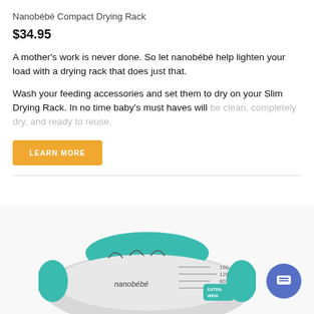Nanobébé Compact Drying Rack
$34.95
A mother's work is never done. So let nanobébé help lighten your load with a drying rack that does just that.
Wash your feeding accessories and set them to dry on your Slim Drying Rack. In no time baby's must haves will be clean, completely dry, and ready to reuse.
LEARN MORE
[Figure (photo): Bottom portion of a nanobébé compact drying rack product, teal and gray colored, with measurement markings visible.]